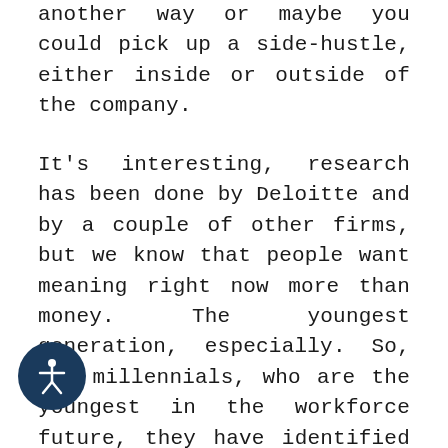another way or maybe you could pick up a side-hustle, either inside or outside of the company.
It's interesting, research has been done by Deloitte and by a couple of other firms, but we know that people want meaning right now more than money. The youngest generation, especially. So, the millennials, who are the youngest in the workforce future, they have identified in research studies, that they prefer meaning over money. Yes, they've got to